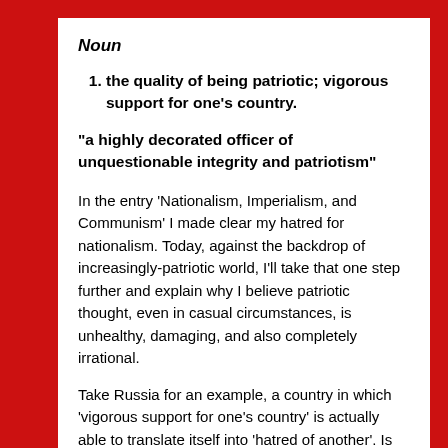Noun
the quality of being patriotic; vigorous support for one's country.
“a highly decorated officer of unquestionable integrity and patriotism”
In the entry ‘Nationalism, Imperialism, and Communism’ I made clear my hatred for nationalism. Today, against the backdrop of increasingly-patriotic world, I’ll take that one step further and explain why I believe patriotic thought, even in casual circumstances, is unhealthy, damaging, and also completely irrational.
Take Russia for an example, a country in which ‘vigorous support for one’s country’ is actually able to translate itself into ‘hatred of another’. Is this not proof that patriotism is a corrupting manner of thought; one that is able to completely distort perceptions of the world? It would even be possible for any leader could cultivate such a force.